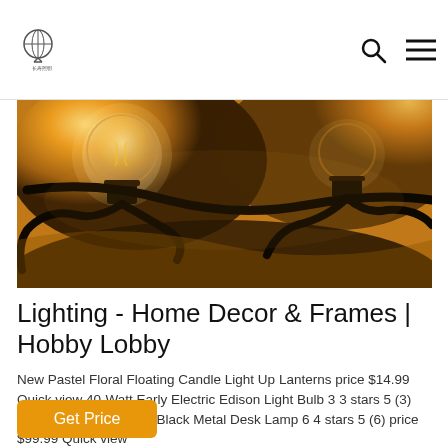Hobby Lobby logo, search icon, menu icon
[Figure (photo): Close-up photo of vintage Edison style light bulbs with black cords against a warm golden/amber background]
Lighting - Home Decor & Frames | Hobby Lobby
New Pastel Floral Floating Candle Light Up Lanterns price $14.99 Quick view 40-Watt Early Electric Edison Light Bulb 3 3 stars 5 (3) price $7.99 Quick view Black Metal Desk Lamp 6 4 stars 5 (6) price $99.99 Quick view
Get Price